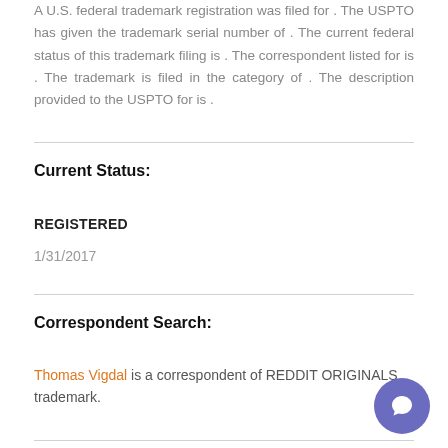A U.S. federal trademark registration was filed for . The USPTO has given the trademark serial number of . The current federal status of this trademark filing is . The correspondent listed for is . The trademark is filed in the category of . The description provided to the USPTO for is .
Current Status:
REGISTERED
1/31/2017
Correspondent Search:
Thomas Vigdal is a correspondent of REDDIT ORIGINALS trademark.